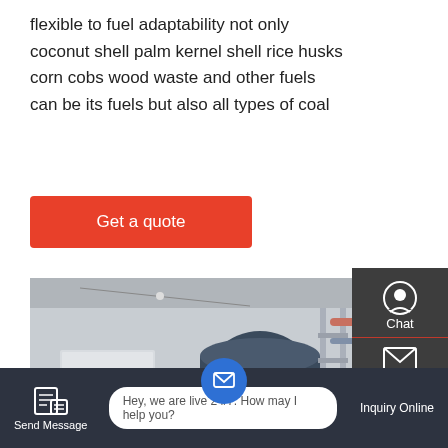flexible to fuel adaptability not only coconut shell palm kernel shell rice husks corn cobs wood waste and other fuels can be its fuels but also all types of coal
[Figure (other): Red 'Get a quote' call-to-action button]
[Figure (photo): Industrial boiler installation inside a factory building, showing a large blue cylindrical boiler with scaffolding, pipes, and metal cabinetry.]
[Figure (infographic): Right-side floating sidebar with Chat, Email, TOP, and Contact icons on dark grey background with red dividers.]
[Figure (infographic): Bottom navigation bar with Send Message icon, live chat message bubble 'Hey, we are live 24/7. How may I help you?', center email icon button, and Inquiry Online button on dark background.]